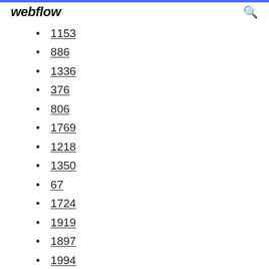webflow
1153
886
1336
376
806
1769
1218
1350
67
1724
1919
1897
1994